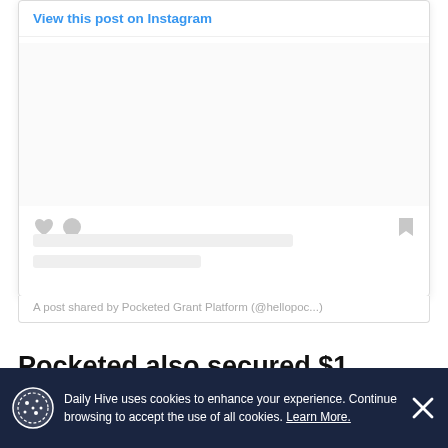[Figure (screenshot): Instagram embed card showing 'View this post on Instagram' link, placeholder content area with heart, comment, and bookmark icons, and two gray placeholder text lines.]
A post shared by Pocketed Grant Platform (@hellopoc...)
Pocketed also secured $1 million in an
Daily Hive uses cookies to enhance your experience. Continue browsing to accept the use of all cookies. Learn More.